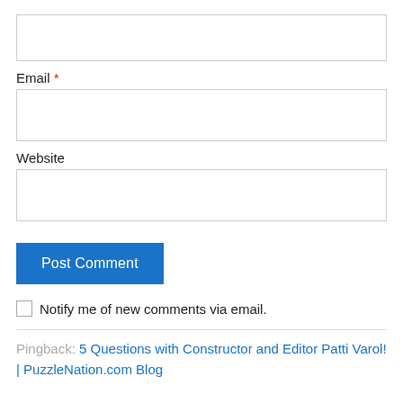[Figure (screenshot): Empty text input box at top of form]
Email *
[Figure (screenshot): Email input field (empty text box)]
Website
[Figure (screenshot): Website input field (empty text box)]
[Figure (screenshot): Post Comment button (blue)]
Notify me of new comments via email.
Pingback: 5 Questions with Constructor and Editor Patti Varol! | PuzzleNation.com Blog